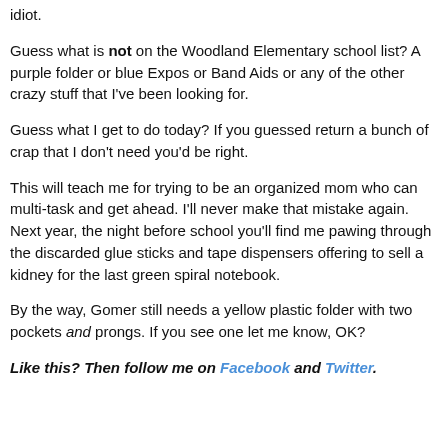idiot.
Guess what is not on the Woodland Elementary school list? A purple folder or blue Expos or Band Aids or any of the other crazy stuff that I've been looking for.
Guess what I get to do today? If you guessed return a bunch of crap that I don't need you'd be right.
This will teach me for trying to be an organized mom who can multi-task and get ahead. I'll never make that mistake again. Next year, the night before school you'll find me pawing through the discarded glue sticks and tape dispensers offering to sell a kidney for the last green spiral notebook.
By the way, Gomer still needs a yellow plastic folder with two pockets and prongs. If you see one let me know, OK?
Like this? Then follow me on Facebook and Twitter.